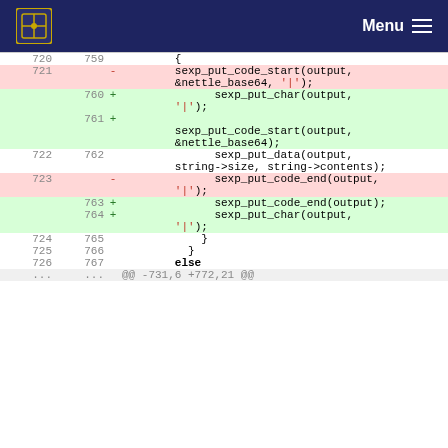[Figure (screenshot): Navigation bar with logo and Menu hamburger icon on dark blue background]
| old | new | +/- | code |
| --- | --- | --- | --- |
| 720 | 759 |  | { |
| 721 |  | - | sexp_put_code_start(output, &nettle_base64, '|'); |
|  | 760 | + | sexp_put_char(output, '|'); |
|  | 761 | + | sexp_put_code_start(output, &nettle_base64); |
| 722 | 762 |  | sexp_put_data(output, string->size, string->contents); |
| 723 |  | - | sexp_put_code_end(output, '|'); |
|  | 763 | + | sexp_put_code_end(output); |
|  | 764 | + | sexp_put_char(output, '|'); |
| 724 | 765 |  | } |
| 725 | 766 |  | } |
| 726 | 767 |  | else |
| ... | ... |  | @@ -731,6 +772,21 @@ |